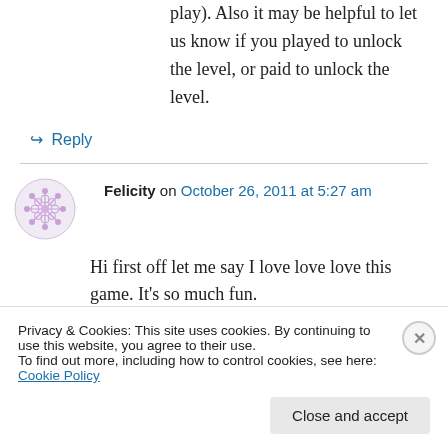play). Also it may be helpful to let us know if you played to unlock the level, or paid to unlock the level.
↪ Reply
Felicity on October 26, 2011 at 5:27 am
Hi first off let me say I love love love this game. It's so much fun.
My issue is that every since I updated my iPhone 4 the game has been freezing up on me. None
Privacy & Cookies: This site uses cookies. By continuing to use this website, you agree to their use.
To find out more, including how to control cookies, see here: Cookie Policy
Close and accept